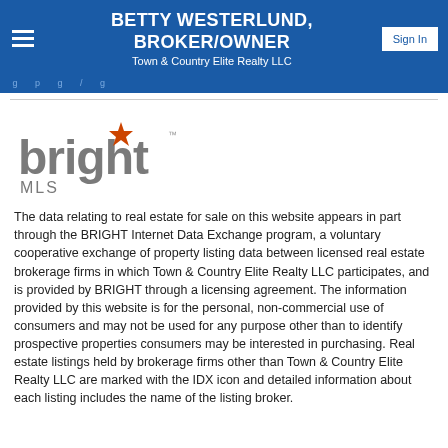BETTY WESTERLUND, BROKER/OWNER
Town & Country Elite Realty LLC
[Figure (logo): Bright MLS logo — stylized lowercase 'bright' text in gray with an orange four-pointed star above the letter 'i', and 'MLS' in smaller gray text below]
The data relating to real estate for sale on this website appears in part through the BRIGHT Internet Data Exchange program, a voluntary cooperative exchange of property listing data between licensed real estate brokerage firms in which Town & Country Elite Realty LLC participates, and is provided by BRIGHT through a licensing agreement. The information provided by this website is for the personal, non-commercial use of consumers and may not be used for any purpose other than to identify prospective properties consumers may be interested in purchasing. Real estate listings held by brokerage firms other than Town & Country Elite Realty LLC are marked with the IDX icon and detailed information about each listing includes the name of the listing broker.